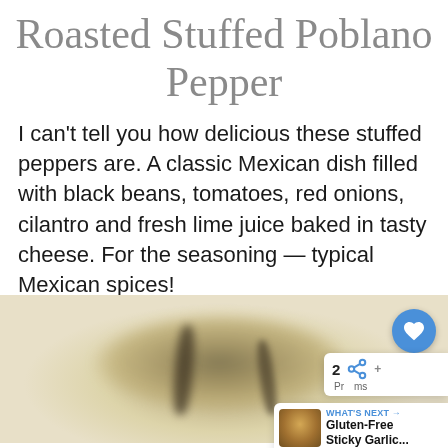Roasted Stuffed Poblano Pepper
I can't tell you how delicious these stuffed peppers are. A classic Mexican dish filled with black beans, tomatoes, red onions, cilantro and fresh lime juice baked in tasty cheese. For the seasoning — typical Mexican spices!
[Figure (photo): Blurred close-up photo of a roasted stuffed poblano pepper on a light beige/cream background, with UI overlays including a blue heart/like button, a social sharing panel showing the number 2 and a share icon, and a 'What's Next' panel showing Gluten-Free Sticky Garlic...]